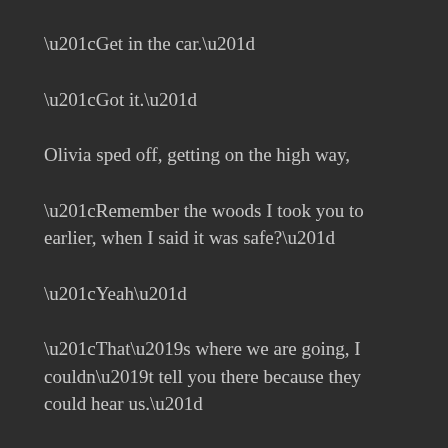“Get in the car.”
“Got it.”
Olivia sped off, getting on the high way,
“Remember the woods I took you to earlier, when I said it was safe?”
“Yeah”
“That’s where we are going, I couldn’t tell you there because they could hear us.”
“Wow those dudes must have super hearing then.”